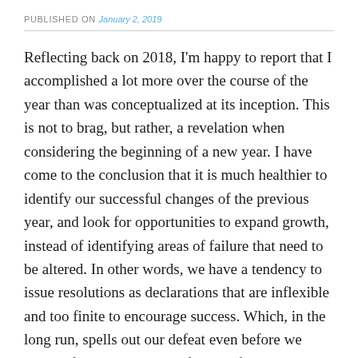PUBLISHED ON January 2, 2019
Reflecting back on 2018, I'm happy to report that I accomplished a lot more over the course of the year than was conceptualized at its inception. This is not to brag, but rather, a revelation when considering the beginning of a new year. I have come to the conclusion that it is much healthier to identify our successful changes of the previous year, and look for opportunities to expand growth, instead of identifying areas of failure that need to be altered. In other words, we have a tendency to issue resolutions as declarations that are inflexible and too finite to encourage success. Which, in the long run, spells out our defeat even before we begin. If we, instead, look for hopeful themes to help or encourage our growth, then this should be enough to